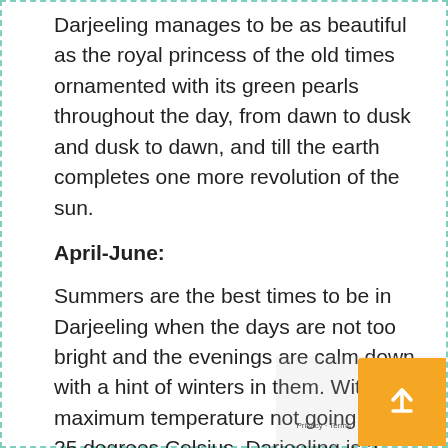Darjeeling manages to be as beautiful as the royal princess of the old times ornamented with its green pearls throughout the day, from dawn to dusk and dusk to dawn, and till the earth completes one more revolution of the sun.
April-June:
Summers are the best times to be in Darjeeling when the days are not too bright and the evenings are calm down with a hint of winters in them. With maximum temperature not going above 25 degrees Celsius, Darjeeling is a surreal destination for backpackers in summers as the windy air and the picturesque surroundings make it all worth a